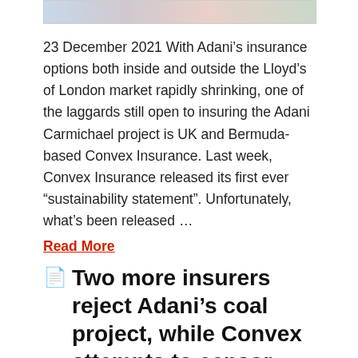[Figure (photo): Cropped image strip at top of article, partially visible]
23 December 2021 With Adani’s insurance options both inside and outside the Lloyd’s of London market rapidly shrinking, one of the laggards still open to insuring the Adani Carmichael project is UK and Bermuda-based Convex Insurance. Last week, Convex Insurance released its first ever “sustainability statement”. Unfortunately, what’s been released …
Read More
Two more insurers reject Adani’s coal project, while Convex attempts to censor